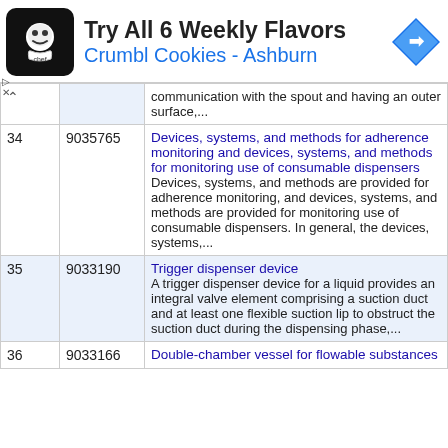[Figure (infographic): Advertisement banner for Crumbl Cookies - Ashburn showing logo, text 'Try All 6 Weekly Flavors' and 'Crumbl Cookies - Ashburn', with a blue navigation arrow icon]
| # | Patent | Description |
| --- | --- | --- |
|  |  | communication with the spout and having an outer surface,... |
| 34 | 9035765 | Devices, systems, and methods for adherence monitoring and devices, systems, and methods for monitoring use of consumable dispensers
Devices, systems, and methods are provided for adherence monitoring, and devices, systems, and methods are provided for monitoring use of consumable dispensers. In general, the devices, systems,... |
| 35 | 9033190 | Trigger dispenser device
A trigger dispenser device for a liquid provides an integral valve element comprising a suction duct and at least one flexible suction lip to obstruct the suction duct during the dispensing phase,... |
| 36 | 9033166 | Double-chamber vessel for flowable substances |